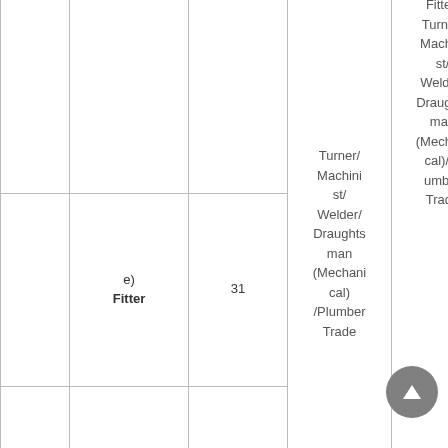|  |  |  | Turner/Machinist/Welder/Draughtsman(Mechanical)/Plumber Trade | Fitter/Turner/Machinist/Welder/Draughtsman(Mechanical)/Plumber Trade |
| --- | --- | --- | --- | --- |
|  | e) Fitter | 31 | Turner/Machinist/Welder/Draughtsman(Mechanical)/Plumber Trade | Fitter/Turner/Machinist/Welder/Draughtsman(Mechanical)/Plumber Trade |
|  | f) Turn... | 02 | ... | ... |
| 2. | Turn... |  |  |  |